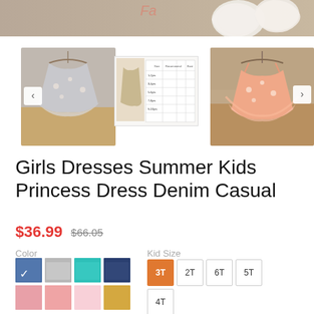[Figure (photo): Top banner showing partial product image with lace doily decorations]
[Figure (photo): Thumbnail of gray girls dress on hanger]
[Figure (photo): Thumbnail of size chart table image]
[Figure (photo): Thumbnail of pink girls dress on hanger]
Girls Dresses Summer Kids Princess Dress Denim Casual
$36.99  $66.05
Color
Kid Size
3T  2T  6T  5T  4T